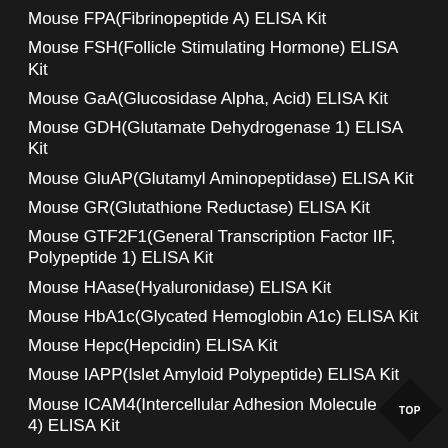Mouse FPA(Fibrinopeptide A) ELISA Kit
Mouse FSH(Follicle Stimulating Hormone) ELISA Kit
Mouse GaA(Glucosidase Alpha, Acid) ELISA Kit
Mouse GDH(Glutamate Dehydrogenase 1) ELISA Kit
Mouse GluAP(Glutamyl Aminopeptidase) ELISA Kit
Mouse GR(Glutathione Reductase) ELISA Kit
Mouse GTF2F1(General Transcription Factor IIF, Polypeptide 1) ELISA Kit
Mouse HAase(Hyaluronidase) ELISA Kit
Mouse HbA1c(Glycated Hemoglobin A1c) ELISA Kit
Mouse Hepc(Hepcidin) ELISA Kit
Mouse IAPP(Islet Amyloid Polypeptide) ELISA Kit
Mouse ICAM4(Intercellular Adhesion Molecule 4) ELISA Kit